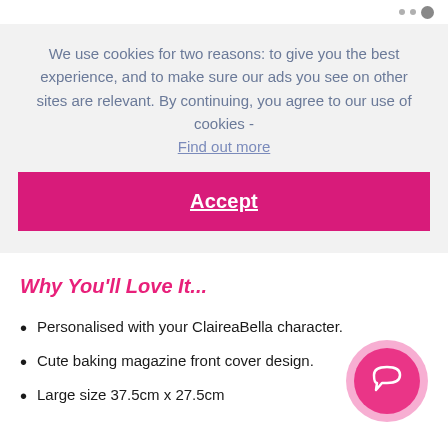We use cookies for two reasons: to give you the best experience, and to make sure our ads you see on other sites are relevant. By continuing, you agree to our use of cookies - Find out more
Accept
Why You'll Love It...
Personalised with your ClaireaBella character.
Cute baking magazine front cover design.
Large size 37.5cm x 27.5cm